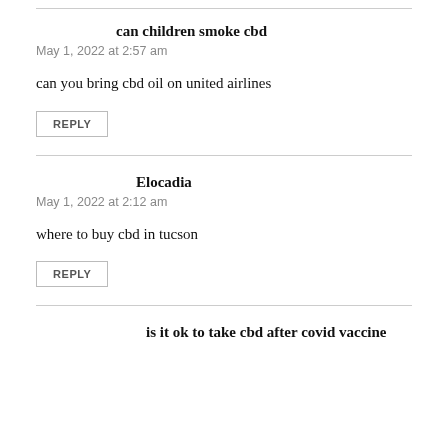can children smoke cbd
May 1, 2022 at 2:57 am
can you bring cbd oil on united airlines
REPLY
Elocadia
May 1, 2022 at 2:12 am
where to buy cbd in tucson
REPLY
is it ok to take cbd after covid vaccine